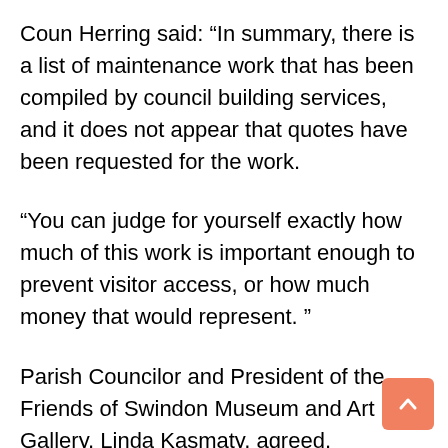Coun Herring said: “In summary, there is a list of maintenance work that has been compiled by council building services, and it does not appear that quotes have been requested for the work.
“You can judge for yourself exactly how much of this work is important enough to prevent visitor access, or how much money that would represent. ”
Parish Councilor and President of the Friends of Swindon Museum and Art Gallery, Linda Kasmaty, agreed.
She said, “Patrick is right. This is not a major obstacle to the reopening of Apsley House.